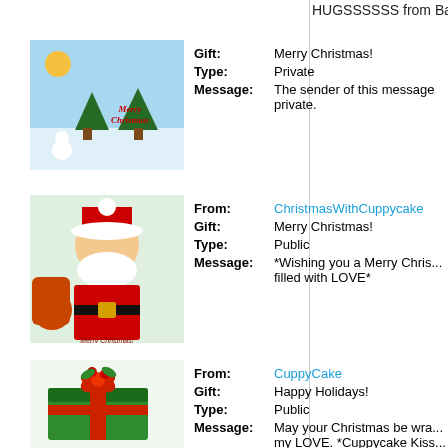HUGSSSSSS from Babs :),
Gift: Merry Christmas! | Type: Private | Message: The sender of this message private.
From: ChristmasWithCuppycake | Gift: Merry Christmas! | Type: Public | Message: *Wishing you a Merry Chris... filled with LOVE*
From: CuppyCake | Gift: Happy Holidays! | Type: Public | Message: May your Christmas be wra... my LOVE. *Cuppycake Kiss...
From: Kristy1 | Gift: Merry Christmas! | Type: Public | Message: Merry Christmas and Warm... Season
From: huaraa...